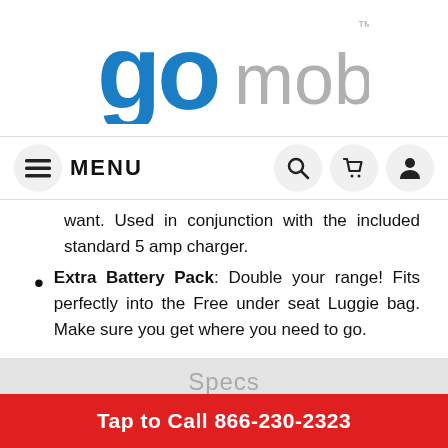[Figure (logo): Go Mobility logo — 'go' in blue bold letters and 'mobility' in grey with TM superscript]
[Figure (screenshot): Navigation bar with hamburger menu icon, MENU text, search icon, cart icon, and user icon in circular buttons]
want. Used in conjunction with the included standard 5 amp charger.
Extra Battery Pack: Double your range! Fits perfectly into the Free under seat Luggie bag. Make sure you get where you need to go.
Specs
Tap to Call 866-230-2323